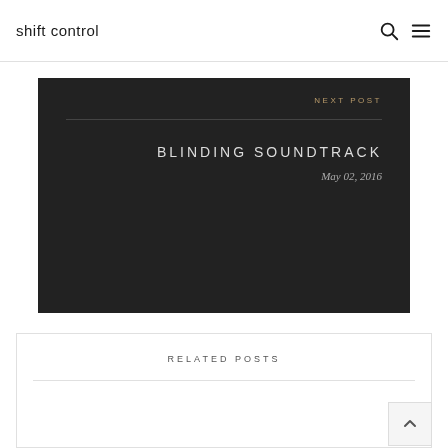shift control
NEXT POST
BLINDING SOUNDTRACK
May 02, 2016
RELATED POSTS
[Figure (photo): Partial view of a map or topographic image at the bottom of the related posts section]